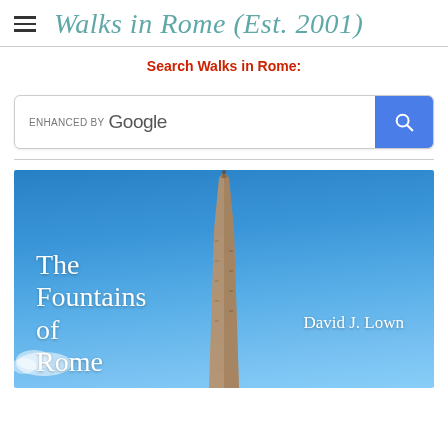Walks in Rome (Est. 2001)
Search Walks in Rome:
[Figure (screenshot): Google enhanced search box with blue search button and magnifying glass icon]
[Figure (photo): Book cover for 'The Fountains of Rome' by David J. Lown, showing an Egyptian obelisk against a blue sky]